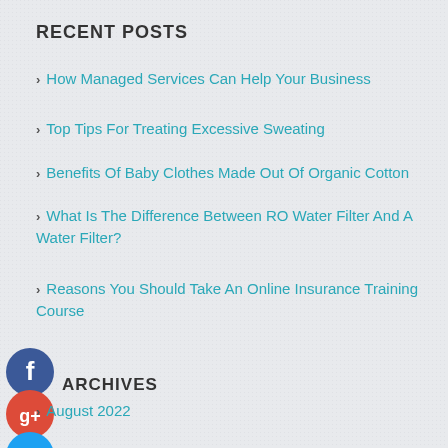RECENT POSTS
How Managed Services Can Help Your Business
Top Tips For Treating Excessive Sweating
Benefits Of Baby Clothes Made Out Of Organic Cotton
What Is The Difference Between RO Water Filter And A Water Filter?
Reasons You Should Take An Online Insurance Training Course
[Figure (illustration): Facebook social share button (blue circle with white F)]
[Figure (illustration): Google Plus social share button (red circle with white g+)]
[Figure (illustration): Twitter social share button (light blue circle with white bird)]
[Figure (illustration): Add/share button (dark circle with white plus sign)]
ARCHIVES
August 2022
July 2022
June 2022
May 2022
April 2022
March 2022